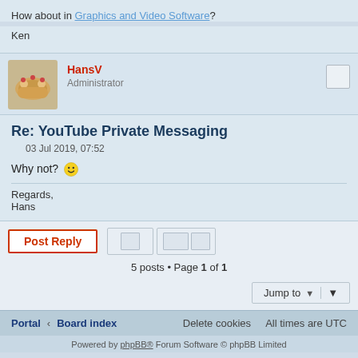How about in Graphics and Video Software?
Ken
HansV
Administrator
Re: YouTube Private Messaging
03 Jul 2019, 07:52
Why not? 🙂
Regards,
Hans
5 posts • Page 1 of 1
Jump to
Portal · Board index | Delete cookies  All times are UTC
Powered by phpBB® Forum Software © phpBB Limited